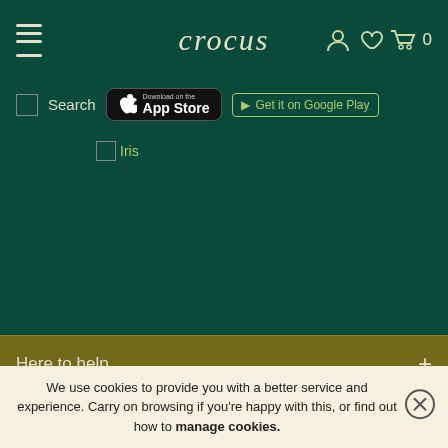crocus
[Figure (screenshot): App Store download badge]
[Figure (screenshot): Get it on Google Play badge]
[Figure (screenshot): Broken image placeholder labeled Iris]
Here to help
Shopping with us
Delivery information
We use cookies to provide you with a better service and experience. Carry on browsing if you're happy with this, or find out how to manage cookies.